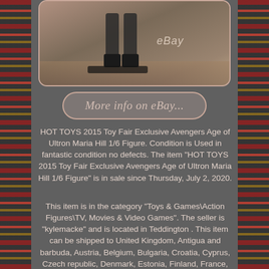[Figure (photo): Photo of Hot Toys 2015 Toy Fair Exclusive Avengers Age of Ultron Maria Hill 1/6 Figure, showing legs and boots of figure on a display stand, with eBay watermark]
More info on eBay...
HOT TOYS 2015 Toy Fair Exclusive Avengers Age of Ultron Maria Hill 1/6 Figure. Condition is Used in fantastic condition no defects. The item "HOT TOYS 2015 Toy Fair Exclusive Avengers Age of Ultron Maria Hill 1/6 Figure" is in sale since Thursday, July 2, 2020.
This item is in the category "Toys & Games\Action Figures\TV, Movies & Video Games". The seller is "kylemacke" and is located in Teddington . This item can be shipped to United Kingdom, Antigua and barbuda, Austria, Belgium, Bulgaria, Croatia, Cyprus, Czech republic, Denmark, Estonia, Finland, France, Germany, Greece, Hungary, Ireland, Italy, Latvia, Lithuania, Luxembourg, Malta, Netherlands, Poland, Portugal, Romania, Slovakia, Slovenia, Spain, Sweden, Australia,